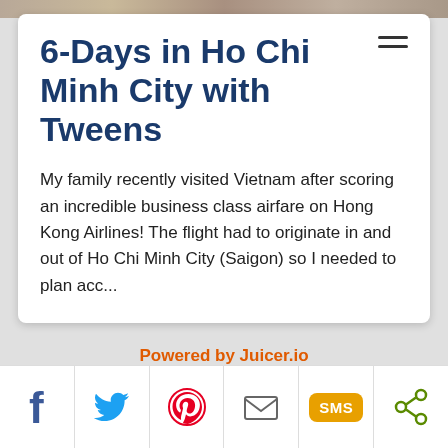[Figure (photo): Photo strip at top of page showing a textured outdoor surface]
6-Days in Ho Chi Minh City with Tweens
My family recently visited Vietnam after scoring an incredible business class airfare on Hong Kong Airlines! The flight had to originate in and out of Ho Chi Minh City (Saigon) so I needed to plan acc...
Powered by Juicer.io
[Figure (infographic): Social share bar with Facebook, Twitter, Pinterest, Email, SMS, and Share icons]